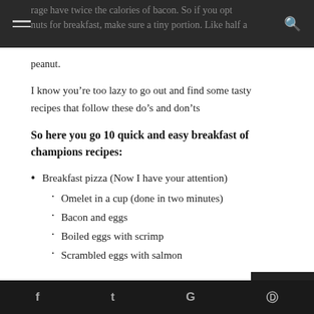rage have twice the calories of bacon. So if you opt nuts for breakfast, make sure a tiny portion. Like half a peanut.
I know you're too lazy to go out and find some tasty recipes that follow these do's and don'ts
So here you go 10 quick and easy breakfast of champions recipes:
Breakfast pizza (Now I have your attention)
Omelet in a cup (done in two minutes)
Bacon and eggs
Boiled eggs with scrimp
Scrambled eggs with salmon
f  t  G  P